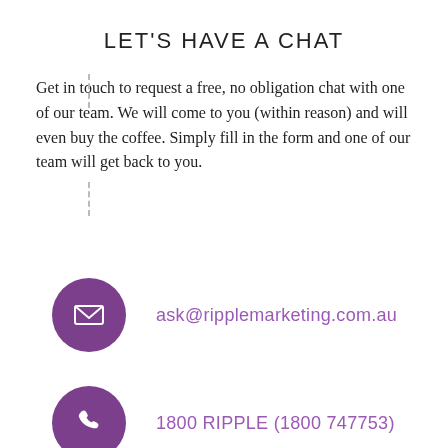LET'S HAVE A CHAT
Get in touch to request a free, no obligation chat with one of our team. We will come to you (within reason) and will even buy the coffee. Simply fill in the form and one of our team will get back to you.
ask@ripplemarketing.com.au
1800 RIPPLE (1800 747753)
Ripple Marketing Australia (Head